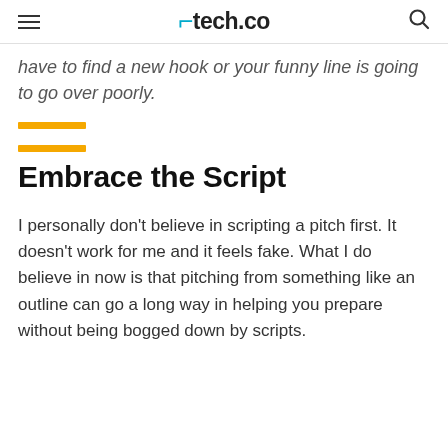tech.co
have to find a new hook or your funny line is going to go over poorly.
Embrace the Script
I personally don't believe in scripting a pitch first. It doesn't work for me and it feels fake. What I do believe in now is that pitching from something like an outline can go a long way in helping you prepare without being bogged down by scripts.